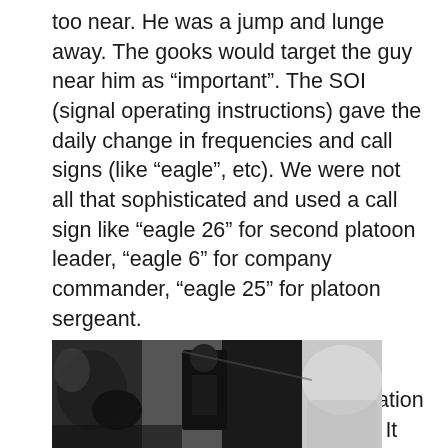too near.  He was a jump and lunge away.  The gooks would target the guy near him as “important”. The SOI (signal operating instructions) gave the daily change in frequencies and call signs (like “eagle”, etc). We were not all that sophisticated and used a call sign like “eagle 26” for second platoon leader, “eagle 6” for company commander, “eagle 25” for platoon sergeant.
Pilots were easy to identify in a transmission as the helicopter vibration would come across in their voices.  It was a bit funny actually to hear.
[Figure (photo): Black and white photograph showing people and what appears to be military equipment or a helicopter, partially visible at the bottom of the page.]